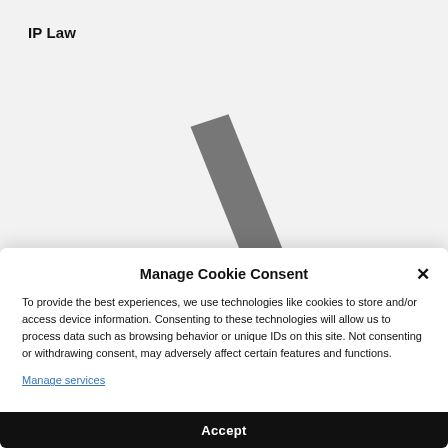IP Law
[Figure (illustration): Partial geometric logo shape — a dark gray diagonal parallelogram/rhombus graphic, partially visible, centered in the upper gray background area]
Manage Cookie Consent
To provide the best experiences, we use technologies like cookies to store and/or access device information. Consenting to these technologies will allow us to process data such as browsing behavior or unique IDs on this site. Not consenting or withdrawing consent, may adversely affect certain features and functions.
Manage services
Accept